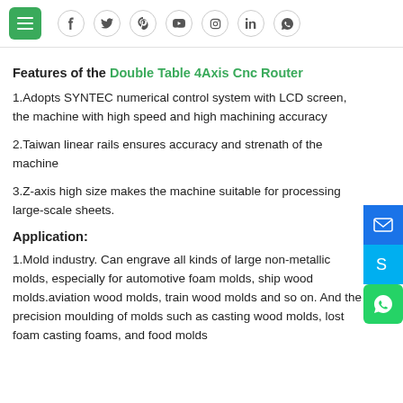Navigation bar with hamburger menu and social icons: Facebook, Twitter, Pinterest, YouTube, Instagram, LinkedIn, WhatsApp
Features of the Double Table 4Axis Cnc Router
1.Adopts SYNTEC numerical control system with LCD screen, the machine with high speed and high machining accuracy
2.Taiwan linear rails ensures accuracy and strenath of the machine
3.Z-axis high size makes the machine suitable for processing large-scale sheets.
Application:
1.Mold industry. Can engrave all kinds of large non-metallic molds, especially for automotive foam molds, ship wood molds.aviation wood molds, train wood molds and so on. And the precision moulding of molds such as casting wood molds, lost foam casting foams, and food molds